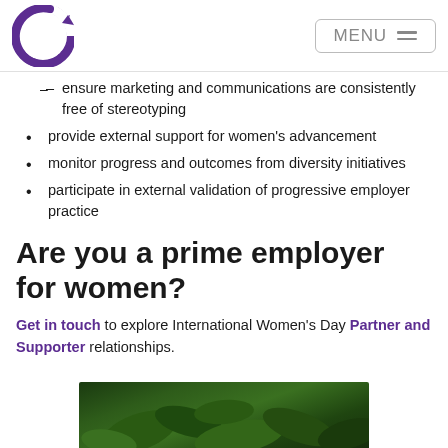IWD Logo | MENU
ensure marketing and communications are consistently free of stereotyping
provide external support for women's advancement
monitor progress and outcomes from diversity initiatives
participate in external validation of progressive employer practice
Are you a prime employer for women?
Get in touch to explore International Women's Day Partner and Supporter relationships.
[Figure (photo): Close-up photo of green leafy plants/foliage, partially visible at bottom of page]